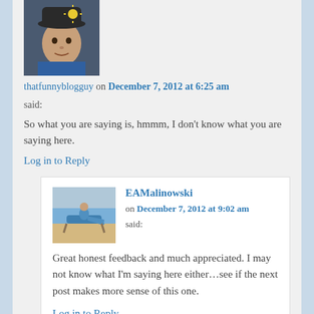[Figure (photo): Avatar photo of thatfunnyblogguy – man in dark hat with sun design]
thatfunnyblogguy on December 7, 2012 at 6:25 am
said:
So what you are saying is, hmmm, I don't know what you are saying here.
Log in to Reply
[Figure (photo): Avatar photo of EAMalinowski – person in beach chair]
EAMalinowski on December 7, 2012 at 9:02 am said:
Great honest feedback and much appreciated. I may not know what I'm saying here either…see if the next post makes more sense of this one.
Log in to Reply